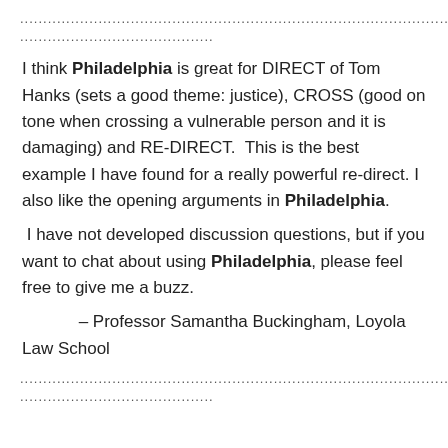..............................................................................................................
..........................................
I think Philadelphia is great for DIRECT of Tom Hanks (sets a good theme: justice), CROSS (good on tone when crossing a vulnerable person and it is damaging) and RE-DIRECT.  This is the best example I have found for a really powerful re-direct. I also like the opening arguments in Philadelphia.
I have not developed discussion questions, but if you want to chat about using Philadelphia, please feel free to give me a buzz.
– Professor Samantha Buckingham, Loyola Law School
..............................................................................................................
..........................................